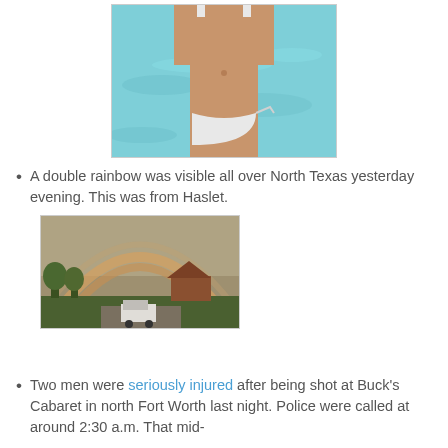[Figure (photo): Person in white bikini standing in front of turquoise water, torso and lower body visible]
A double rainbow was visible all over North Texas yesterday evening. This was from Haslet.
[Figure (photo): Double rainbow arching over a suburban neighborhood with trees and buildings under overcast sky]
Two men were seriously injured after being shot at Buck's Cabaret in north Fort Worth last night. Police were called at around 2:30 a.m. That mid-